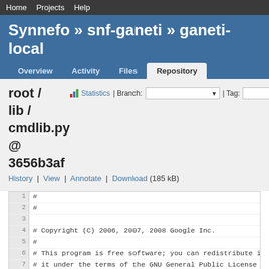Home  Projects  Help
Synnefo » snf-ganeti » ganeti-local
Overview  Activity  Files  Repository
root / lib / cmdlib.py @ 3656b3af
History | View | Annotate | Download (185 kB)
1  #
2  #
3
4  # Copyright (C) 2006, 2007, 2008 Google Inc.
5  #
6  # This program is free software; you can redistribute i
7  # it under the terms of the GNU General Public License
8  # the Free Software Foundation; either version 2 of the
9  # (at your option) any later version.
10  #
11  # This program is distributed in the hope that it will
12  # WITHOUT ANY WARRANTY; without even the implied warran
13  # MERCHANTABILITY or FITNESS FOR A PARTICULAR PURPOSE.